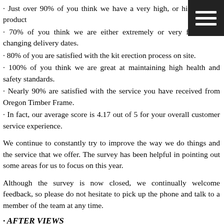· Just over 90% of you think we have a very high, or high quality product
· 70% of you think we are either extremely or very flexible in changing delivery dates.
· 80% of you are satisfied with the kit erection process on site.
· 100% of you think we are great at maintaining high health and safety standards.
· Nearly 90% are satisfied with the service you have received from Oregon Timber Frame.
· In fact, our average score is 4.17 out of 5 for your overall customer service experience.
We continue to constantly try to improve the way we do things and the service that we offer. The survey has been helpful in pointing out some areas for us to focus on this year.
Although the survey is now closed, we continually welcome feedback, so please do not hesitate to pick up the phone and talk to a member of the team at any time.